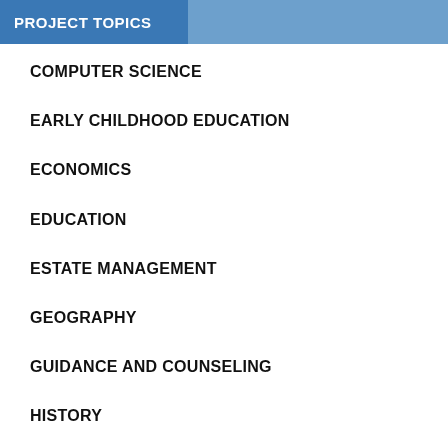PROJECT TOPICS
COMPUTER SCIENCE
EARLY CHILDHOOD EDUCATION
ECONOMICS
EDUCATION
ESTATE MANAGEMENT
GEOGRAPHY
GUIDANCE AND COUNSELING
HISTORY
MARKETING